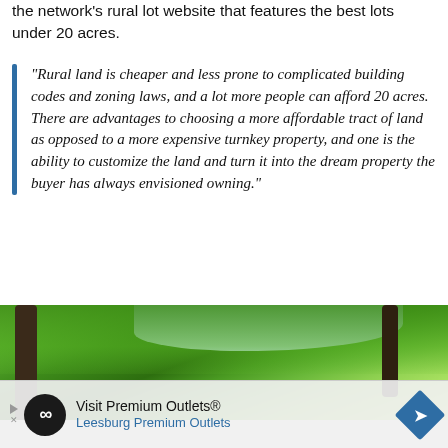the network's rural lot website that features the best lots under 20 acres.
“Rural land is cheaper and less prone to complicated building codes and zoning laws, and a lot more people can afford 20 acres. There are advantages to choosing a more affordable tract of land as opposed to a more expensive turnkey property, and one is the ability to customize the land and turn it into the dream property the buyer has always envisioned owning.”
[Figure (photo): Photograph of green tree canopy with sunlight filtering through leaves, blue sky visible in background]
[Figure (other): Advertisement: Visit Premium Outlets® - Leesburg Premium Outlets, with Outlets logo circle and blue diamond arrow icon]